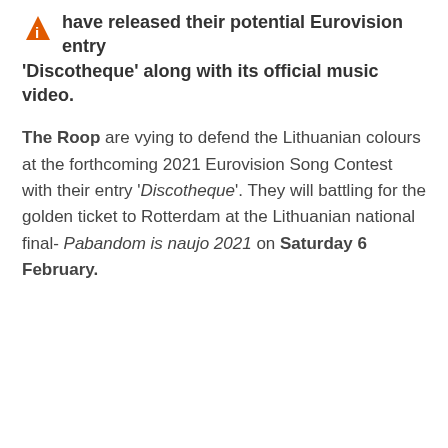have released their potential Eurovision entry 'Discotheque' along with its official music video.
The Roop are vying to defend the Lithuanian colours at the forthcoming 2021 Eurovision Song Contest with their entry 'Discotheque'. They will battling for the golden ticket to Rotterdam at the Lithuanian national final- Pabandom is naujo 2021 on Saturday 6 February.